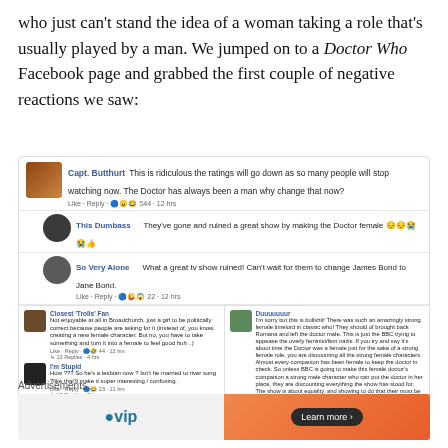who just can't stand the idea of a woman taking a role that's usually played by a man. We jumped on to a Doctor Who Facebook page and grabbed the first couple of negative reactions we saw:
[Figure (screenshot): Screenshot of Facebook comments reacting negatively to the Doctor Who casting of a female Doctor. Comments from 'Capt. Butthurt', 'This Dumbass', 'So Very Alone', 'Closest Trolls Fan', 'I'm Stupid', and 'Duuuuuuur'.]
Advertisements
[Figure (other): Advertisement banner with WordPress VIP logo on left and orange Learn more button on right]